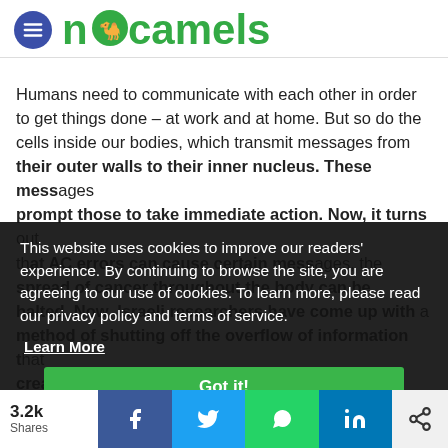[Figure (logo): NoCamels website logo with hamburger menu icon and green camel brand name]
Humans need to communicate with each other in order to get things done – at work and at home. But so do the cells inside our bodies, which transmit messages from their outer walls to their inner nucleus. These messages prompt those to take immediate action. Now, it turns out that AC errors can cause certain messages, the spread of cancer throughout the body can be halted. Now, Israeli researchers have come up with a method of shutting off the overflow of information that creates cancerous mutations.
This website uses cookies to improve our readers' experience. By continuing to browse the site, you are agreeing to our use of cookies. To learn more, please read our privacy policy and terms of service.
Learn More
Got it!
The average living cell must transmit a constant stream of messages quickly and efficiently from its outer walls to the inner nucleus, where most of the day-to-day
3.2k
Shares